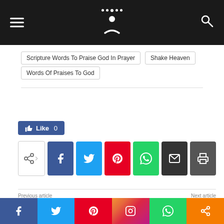[Figure (screenshot): Website top navigation bar with hamburger menu, circular logo with dots and figure, and search icon on dark background]
Scripture Words To Praise God In Prayer
Shake Heaven
Words Of Praises To God
[Figure (screenshot): Social sharing buttons row: Like button (blue, Facebook), share icon, Facebook, Twitter, Pinterest, WhatsApp, Email, Print]
Previous article
Next article
Download These 6 Powerful Books For Free And Receive Deliverance!
100% Powerful Prayers That Make Satan Dial 911
[Figure (screenshot): Bottom social media bar with Facebook, Twitter, Pinterest, Instagram, WhatsApp, and Share buttons]